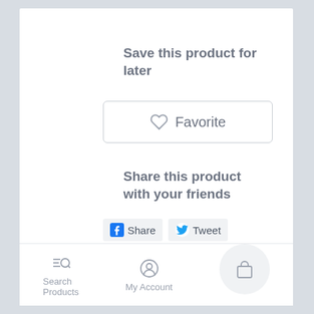Save this product for later
[Figure (screenshot): Favorite button with heart icon and rounded rectangle border]
Share this product with your friends
[Figure (screenshot): Social sharing buttons: Facebook Share, Twitter Tweet, Pinterest Pin it]
[Figure (screenshot): Bottom navigation bar with Search Products, My Account, and shopping bag icons]